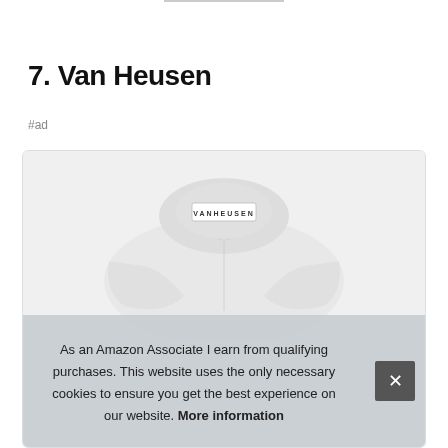7. Van Heusen
#ad
[Figure (photo): A white Van Heusen dress shirt with collar visible and the Van Heusen label showing on the collar band.]
As an Amazon Associate I earn from qualifying purchases. This website uses the only necessary cookies to ensure you get the best experience on our website. More information